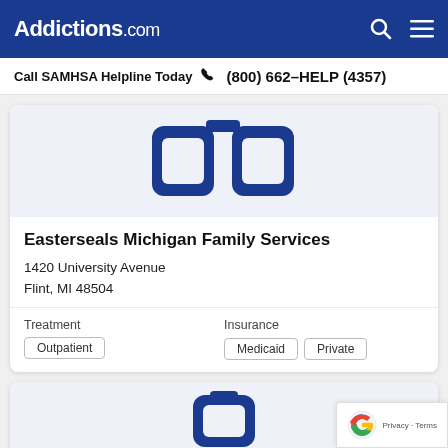Addictions.com
Call SAMHSA Helpline Today  (800) 662-HELP (4357)
[Figure (logo): Easterseals Michigan Family Services logo placeholder — blue rounded rectangle icon on light blue background]
Easterseals Michigan Family Services
1420 University Avenue
Flint, MI 48504
Treatment
Outpatient
Insurance
Medicaid  Private
[Figure (logo): Second facility logo placeholder — blue rounded rectangle icon on light blue background (partially visible)]